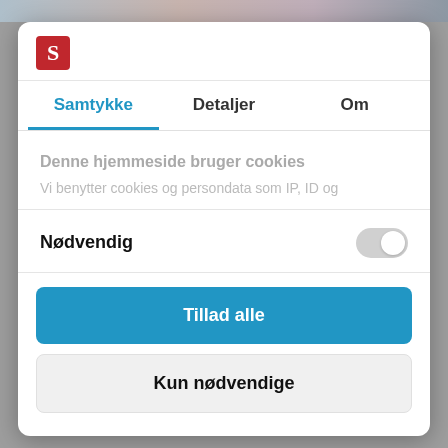[Figure (screenshot): Cookie consent dialog for a Danish website. Shows logo with red 'S' icon, three tabs (Samtykke, Detaljer, Om), cookie description text, Nødvendig toggle switch, Tillad alle button (blue), Kun nødvendige button (gray), and Cookiebot by Usercentrics footer.]
Samtykke
Detaljer
Om
Denne hjemmeside bruger cookies
Vi benytter cookies og persondata som IP, ID og
Nødvendig
Tillad alle
Kun nødvendige
Powered by Cookiebot by Usercentrics